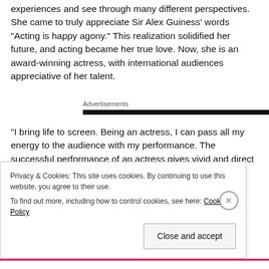experiences and see through many different perspectives. She came to truly appreciate Sir Alex Guiness' words “Acting is happy agony.” This realization solidified her future, and acting became her true love. Now, she is an award-winning actress, with international audiences appreciative of her talent.
Advertisements
“I bring life to screen. Being an actress, I can pass all my energy to the audience with my performance. The successful performance of an actress gives vivid and direct descriptions of the hero to affect the inner heart of all the audiences. It also
Privacy & Cookies: This site uses cookies. By continuing to use this website, you agree to their use.
To find out more, including how to control cookies, see here: Cookie Policy
Close and accept